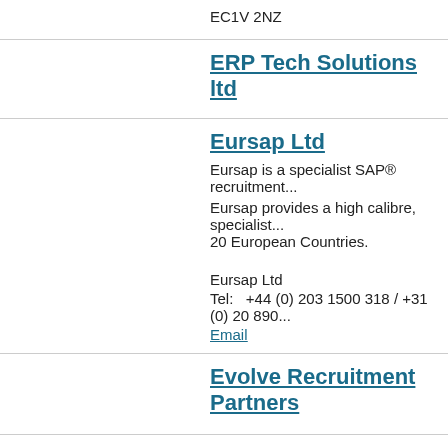EC1V 2NZ
ERP Tech Solutions ltd
Eursap Ltd
Eursap is a specialist SAP® recruitment...
Eursap provides a high calibre, specialist... 20 European Countries.
Eursap Ltd
Tel:   +44 (0) 203 1500 318 / +31 (0) 20 890...
Email
Evolve Recruitment Partners